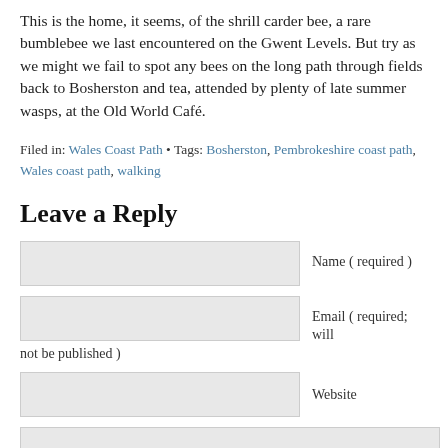This is the home, it seems, of the shrill carder bee, a rare bumblebee we last encountered on the Gwent Levels. But try as we might we fail to spot any bees on the long path through fields back to Bosherston and tea, attended by plenty of late summer wasps, at the Old World Café.
Filed in: Wales Coast Path • Tags: Bosherston, Pembrokeshire coast path, Wales coast path, walking
Leave a Reply
Name ( required )
Email ( required; will not be published )
Website